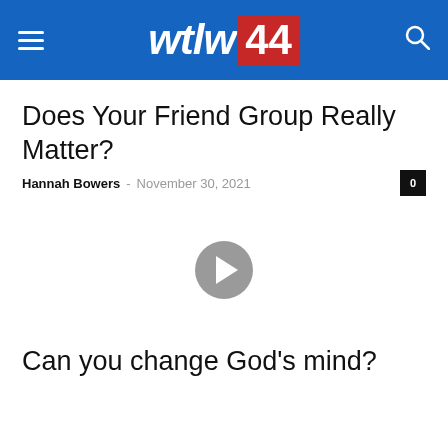wtlw 44
Does Your Friend Group Really Matter?
Hannah Bowers - November 30, 2021
[Figure (other): Video player with gray play button circle in the center on a white background]
Can you change God's mind?